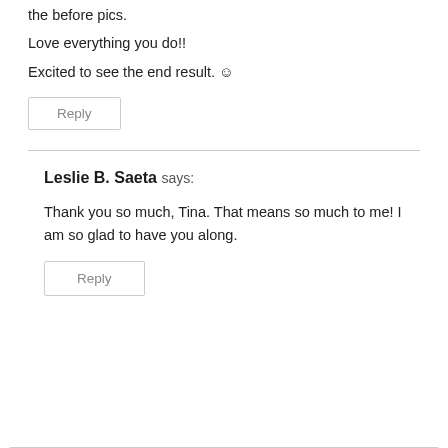the before pics.
Love everything you do!!
Excited to see the end result. ☺
Reply
Leslie B. Saeta says:
Thank you so much, Tina. That means so much to me! I am so glad to have you along.
Reply